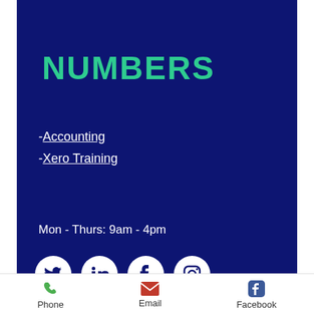NUMBERS
- Accounting
- Xero Training
Mon - Thurs: 9am - 4pm
[Figure (illustration): Four social media icons in white circles on dark blue background: Twitter, LinkedIn, Facebook, Instagram]
Phone  Email  Facebook